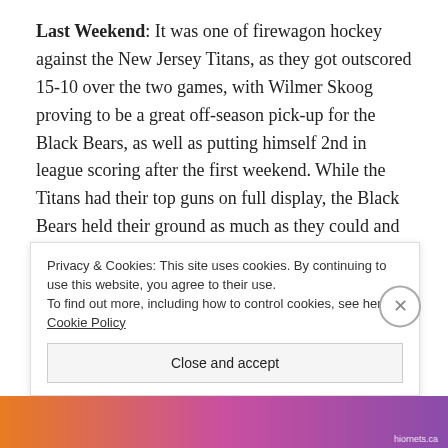Last Weekend: It was one of firewagon hockey against the New Jersey Titans, as they got outscored 15-10 over the two games, with Wilmer Skoog proving to be a great off-season pick-up for the Black Bears, as well as putting himself 2nd in league scoring after the first weekend. While the Titans had their top guns on full display, the Black Bears held their ground as much as they could and if not for the second period in each game– it could have been a different outcome for the team. The defense was able to pick-up some offense, as well, with two goals and nine assists coming from the blue line, Aidan McDowell and Parker finishing the game with outscored…
Privacy & Cookies: This site uses cookies. By continuing to use this website, you agree to their use.
To find out more, including how to control cookies, see here: Cookie Policy
Close and accept